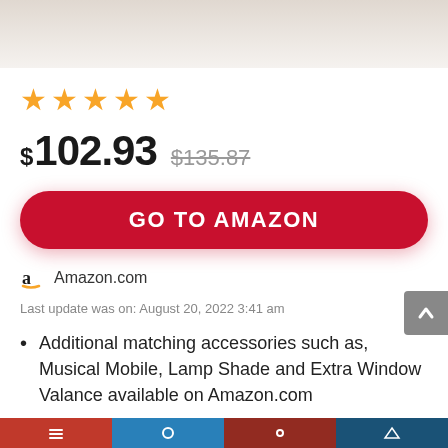[Figure (photo): Product image thumbnail, partially visible at top of page]
★★★★★
$102.93  $135.87
GO TO AMAZON
Amazon.com
Last update was on: August 20, 2022 3:41 am
Additional matching accessories such as, Musical Mobile, Lamp Shade and Extra Window Valance available on Amazon.com